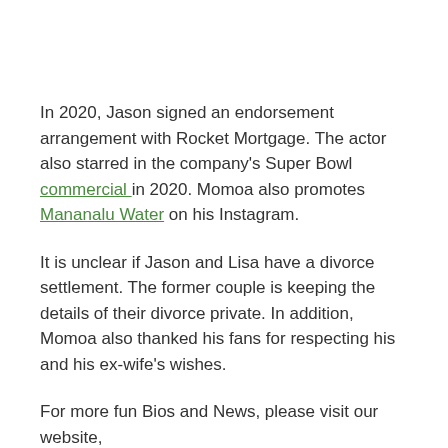In 2020, Jason signed an endorsement arrangement with Rocket Mortgage. The actor also starred in the company's Super Bowl commercial in 2020. Momoa also promotes Mananalu Water on his Instagram.
It is unclear if Jason and Lisa have a divorce settlement. The former couple is keeping the details of their divorce private. In addition, Momoa also thanked his fans for respecting his and his ex-wife's wishes.
For more fun Bios and News, please visit our website, E-Celebrityfacts.
Tags